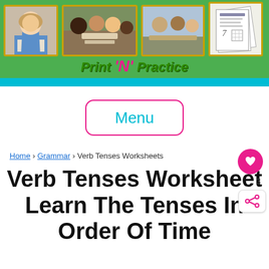[Figure (illustration): Print N Practice website header banner with green background, photos of children studying and worksheet samples, and the Print 'N' Practice logo text]
Menu
Home › Grammar › Verb Tenses Worksheets
Verb Tenses Worksheet Learn The Tenses In Order Of Time